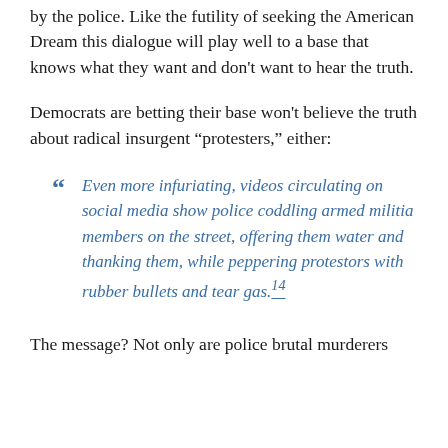by the police. Like the futility of seeking the American Dream this dialogue will play well to a base that knows what they want and don't want to hear the truth.
Democrats are betting their base won't believe the truth about radical insurgent “protesters,” either:
“ Even more infuriating, videos circulating on social media show police coddling armed militia members on the street, offering them water and thanking them, while peppering protestors with rubber bullets and tear gas.´14
The message? Not only are police brutal murderers